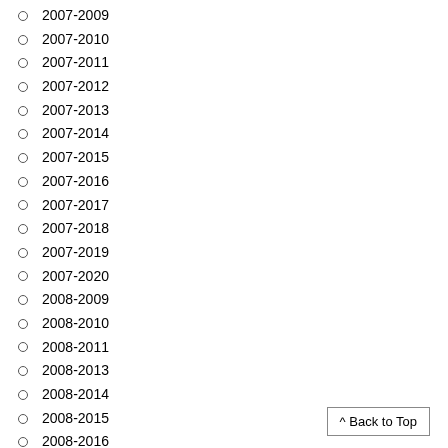2007-2009
2007-2010
2007-2011
2007-2012
2007-2013
2007-2014
2007-2015
2007-2016
2007-2017
2007-2018
2007-2019
2007-2020
2008-2009
2008-2010
2008-2011
2008-2013
2008-2014
2008-2015
2008-2016
2008-2017
2008-2018
2008-2019
2008-2020
2009-2013
2009-2014
^ Back to Top